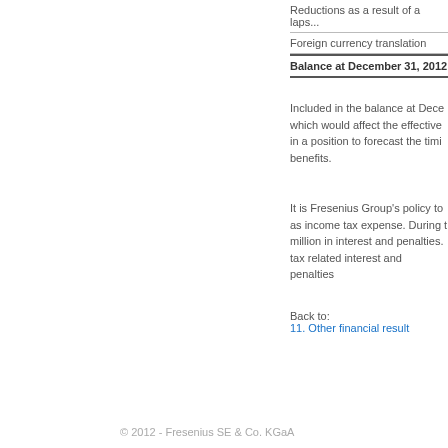| Reductions as a result of a laps... |
| Foreign currency translation |
| Balance at December 31, 2012 |
Included in the balance at Dece... which would affect the effective in a position to forecast the timi... benefits.
It is Fresenius Group's policy to as income tax expense. During t million in interest and penalties. tax related interest and penalties...
Back to:
11. Other financial result
© 2012 - Fresenius SE & Co. KGaA